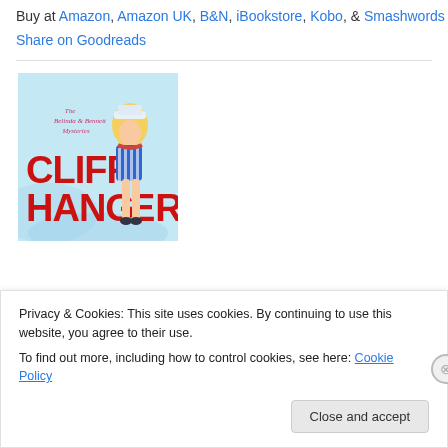Buy at Amazon, Amazon UK, B&N, iBookstore, Kobo, & Smashwords
Share on Goodreads
[Figure (illustration): Book cover for 'Cliffhanger' from The Belinda & Bennett Mysteries series, featuring a cartoon blonde woman in a blue and white striped sailor dress and hat, with large red text reading CLIFFHANGER on a light blue background.]
Privacy & Cookies: This site uses cookies. By continuing to use this website, you agree to their use. To find out more, including how to control cookies, see here: Cookie Policy
Close and accept